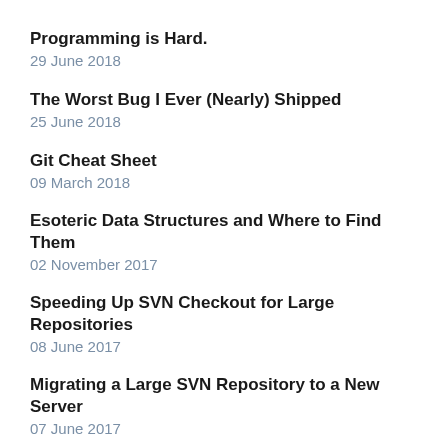Programming is Hard.
29 June 2018
The Worst Bug I Ever (Nearly) Shipped
25 June 2018
Git Cheat Sheet
09 March 2018
Esoteric Data Structures and Where to Find Them
02 November 2017
Speeding Up SVN Checkout for Large Repositories
08 June 2017
Migrating a Large SVN Repository to a New Server
07 June 2017
Notes on Game Programming Patterns by Robert Nystrom
23 January 2017
Highlights from Robert C. Martin's Clean Code